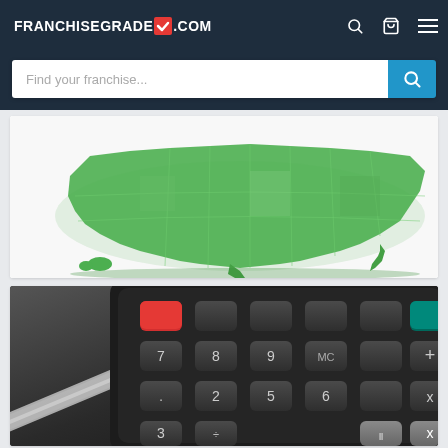FRANCHISEGRADE.COM
Find your franchise...
[Figure (map): 3D green map of the United States showing states in various shades of green]
[Figure (photo): Close-up photo of a black calculator with a pen/pencil in the foreground, showing numeric keypad keys]